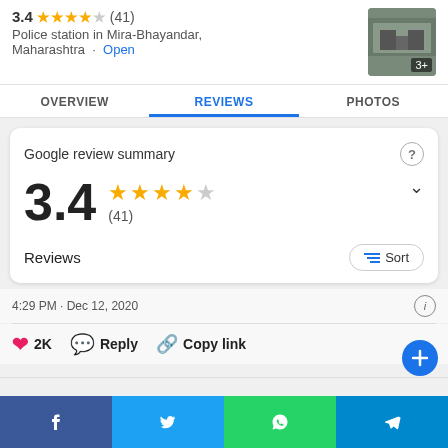3.4 ★★★★☆ (41)
Police station in Mira-Bhayandar, Maharashtra · Open
[Figure (photo): Thumbnail photo of police station exterior with '3+' overlay]
OVERVIEW | REVIEWS | PHOTOS
Google review summary
3.4 ★★★★☆ (41)
Reviews
4:29 PM · Dec 12, 2020
❤ 2K  💬 Reply  🔗 Copy link
[Figure (screenshot): Share bar with Facebook, Twitter, WhatsApp, Telegram icons]